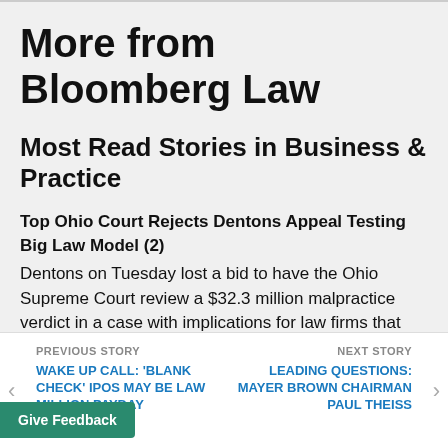More from Bloomberg Law
Most Read Stories in Business & Practice
Top Ohio Court Rejects Dentons Appeal Testing Big Law Model (2)
Dentons on Tuesday lost a bid to have the Ohio Supreme Court review a $32.3 million malpractice verdict in a case with implications for law firms that use a Swiss verein model
PREVIOUS STORY | WAKE UP CALL: 'BLANK CHECK' IPOS MAY BE LAW MILLION PAYDAY | NEXT STORY | LEADING QUESTIONS: MAYER BROWN CHAIRMAN PAUL THEISS
Give Feedback